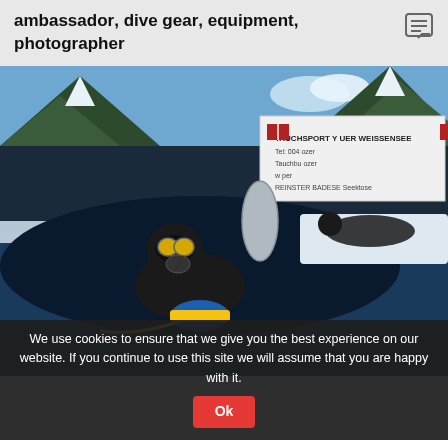ambassador, dive gear, equipment, photographer
[Figure (photo): A scuba diver in full ice diving gear with yellow goggles and a rebreather/tank setup, emerging from a hole cut in a frozen lake. A banner reading 'TAUCHSPORT YACHTHAFEN WEISSENSEE' is visible in the background, with snow-covered mountains. The diver holds colorful equipment. Another diver lies on the ice behind them.]
We use cookies to ensure that we give you the best experience on our website. If you continue to use this site we will assume that you are happy with it.